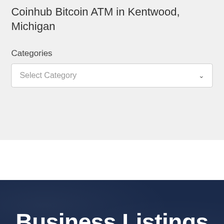Coinhub Bitcoin ATM in Kentwood, Michigan
Categories
Select Category
Business Listings